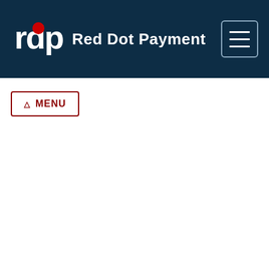Red Dot Payment
[Figure (logo): Red Dot Payment logo with 'rdp' text and red dot, on dark navy background header bar]
☰ MENU